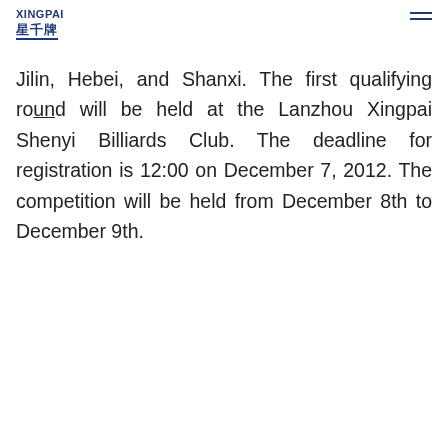XINGPAI 星千牌
Jilin, Hebei, and Shanxi. The first qualifying round will be held at the Lanzhou Xingpai Shenyi Billiards Club. The deadline for registration is 12:00 on December 7, 2012. The competition will be held from December 8th to December 9th.